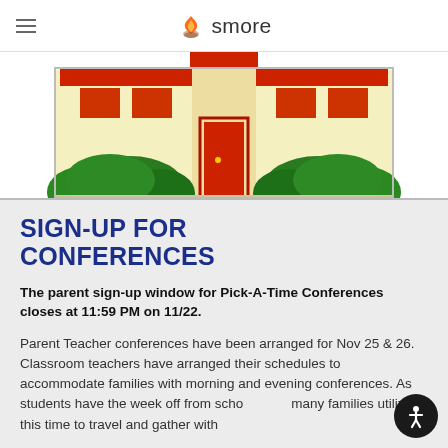smore
[Figure (illustration): Cartoon illustration of a school building with yellow walls, red-trimmed windows, a red door, and green bushes in front]
SIGN-UP FOR CONFERENCES
The parent sign-up window for Pick-A-Time Conferences closes at 11:59 PM on 11/22.
Parent Teacher conferences have been arranged for Nov 25 & 26. Classroom teachers have arranged their schedules to accommodate families with morning and evening conferences. As students have the week off from school, many families utilize this time to travel and gather with